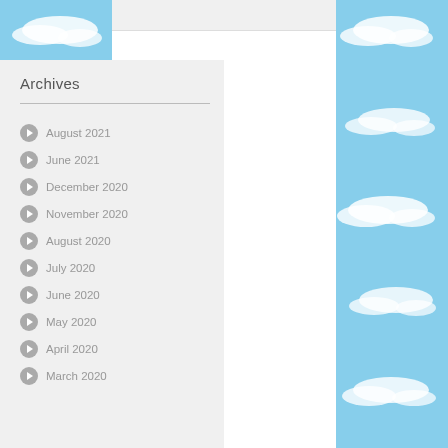Archives
August 2021
June 2021
December 2020
November 2020
August 2020
July 2020
June 2020
May 2020
April 2020
March 2020